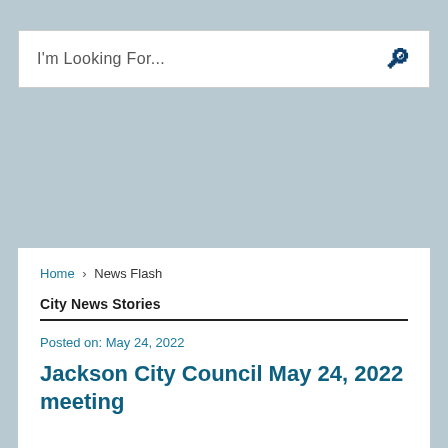[Figure (screenshot): Search bar with placeholder text 'I'm Looking For...' and a magnifying glass icon on the right, set against a light blue-grey background.]
Home › News Flash
City News Stories
Posted on: May 24, 2022
Jackson City Council May 24, 2022 meeting